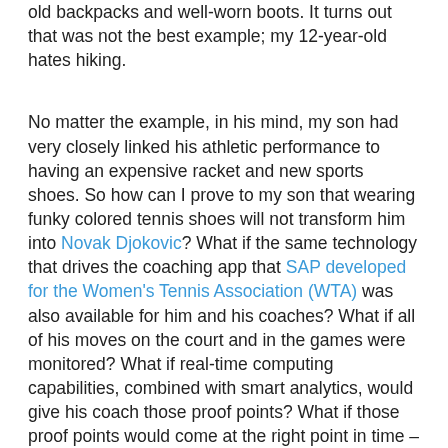old backpacks and well-worn boots. It turns out that was not the best example; my 12-year-old hates hiking.
No matter the example, in his mind, my son had very closely linked his athletic performance to having an expensive racket and new sports shoes. So how can I prove to my son that wearing funky colored tennis shoes will not transform him into Novak Djokovic? What if the same technology that drives the coaching app that SAP developed for the Women's Tennis Association (WTA) was also available for him and his coaches? What if all of his moves on the court and in the games were monitored? What if real-time computing capabilities, combined with smart analytics, would give his coach those proof points? What if those proof points would come at the right point in time – in the game, on the court, on his coaches' mobile device?
Analytics might reveal that my son has to improve his backhand returns, put more force into his first serves, get